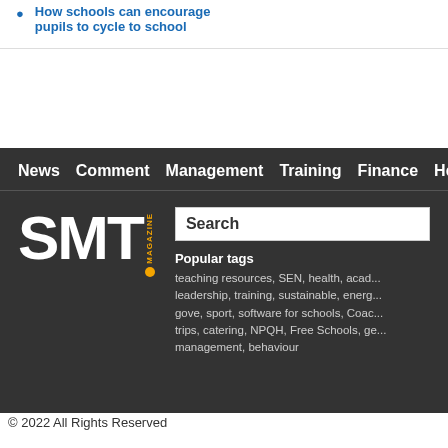How schools can encourage pupils to cycle to school
News  Comment  Management  Training  Finance  Hea...
[Figure (logo): SMT Magazine logo - white bold letters SMT with orange MAGAZINE text and orange dot]
Search
Popular tags
teaching resources, SEN, health, acad... leadership, training, sustainable, energ... gove, sport, software for schools, Coac... trips, catering, NPQH, Free Schools, ge... management, behaviour
© 2022 All Rights Reserved